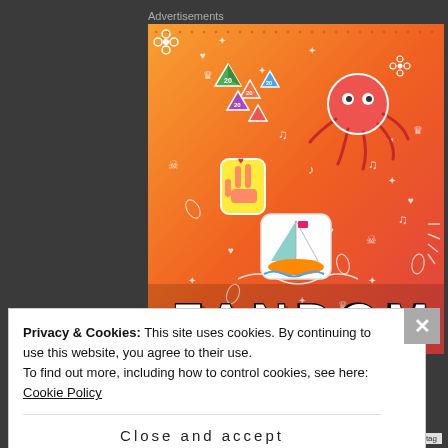Advertisements
[Figure (illustration): Orange gradient background with white doodle patterns (hearts, crowns, music notes, diamonds, skulls, leaves, arrows). Sticker-style illustrations: colorful polyhedral dice (D20s in green, orange, blue, purple), a red cartoon sun creature, a Korean finger heart hand gesture sticker, a cartoon sailboat on waves, and the word FANDOM in large bold black letters at the bottom.]
Privacy & Cookies: This site uses cookies. By continuing to use this website, you agree to their use.
To find out more, including how to control cookies, see here: Cookie Policy
Close and accept